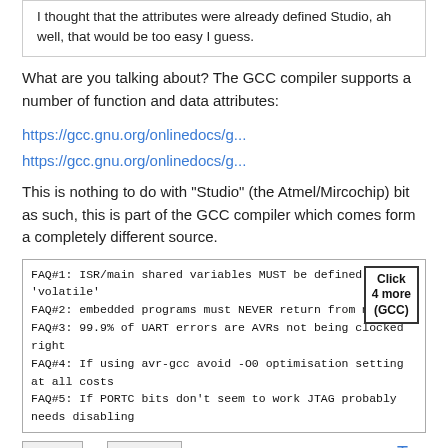I thought that the attributes were already defined Studio, ah well, that would be too easy I guess.
What are you talking about? The GCC compiler supports a number of function and data attributes:
https://gcc.gnu.org/onlinedocs/g...
https://gcc.gnu.org/onlinedocs/g...
This is nothing to do with "Studio" (the Atmel/Mircochip) bit as such, this is part of the GCC compiler which comes form a completely different source.
[Figure (screenshot): FAQ box with monospace text listing FAQ#1 through FAQ#5 about ISR variables, embedded programs, UART errors, avr-gcc optimisation, and PORTC/JTAG. A 'Click 4 more (GCC)' button is shown at the top right.]
Log In or Register to post comments
Top
Posted by El Tangas: Thu. Aug 16, 2018 - 12:48 PM
#26
clawson wrote:
You are misunderstanding what asm() does it literally just says